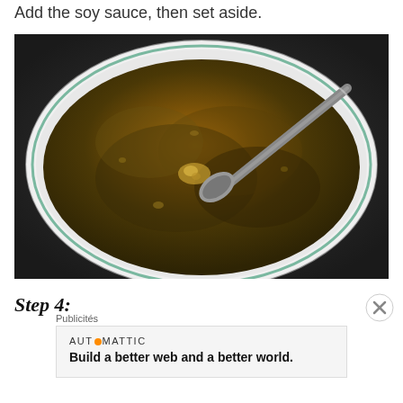Add the soy sauce, then set aside.
[Figure (photo): A white bowl containing a dark brown soy sauce-based marinade or broth with a spoon resting in it, viewed from above against a dark background.]
Step 4:
Publicités
AUTOMATTIC
Build a better web and a better world.